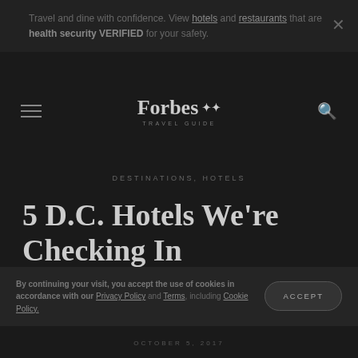Travel and dine with confidence. View hotels and restaurants that are health security VERIFIED for your safety.
[Figure (logo): Forbes Travel Guide logo with hamburger menu and search icon in dark navigation bar]
DESTINATIONS, HOTELS
5 D.C. Hotels We're Checking In
By continuing your visit, you accept the use of cookies in accordance with our Privacy Policy and Terms, including Cookie Policy.
OCTOBER 5, 2017